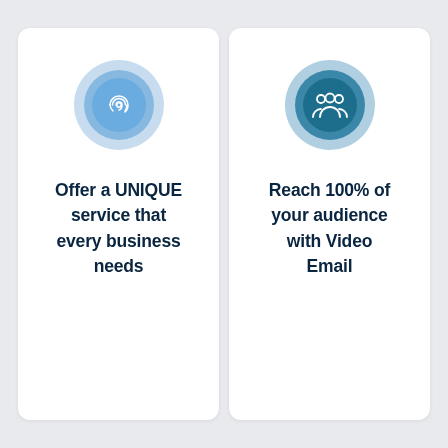[Figure (infographic): Fingerprint icon inside concentric blue circles]
Offer a UNIQUE service that every business needs
[Figure (infographic): People/audience icon inside concentric teal-blue circles]
Reach 100% of your audience with Video Email